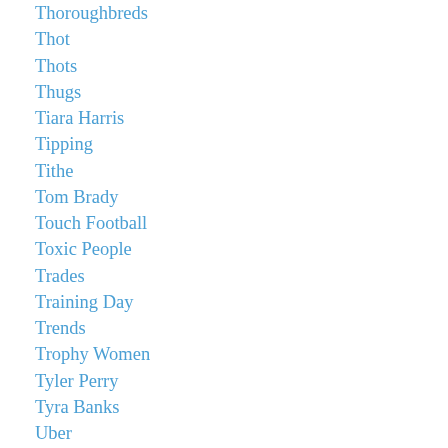Thoroughbreds
Thot
Thots
Thugs
Tiara Harris
Tipping
Tithe
Tom Brady
Touch Football
Toxic People
Trades
Training Day
Trends
Trophy Women
Tyler Perry
Tyra Banks
Uber
Upstream
Validation
Vampire Huntress Legend
Vampire Huntress Legends